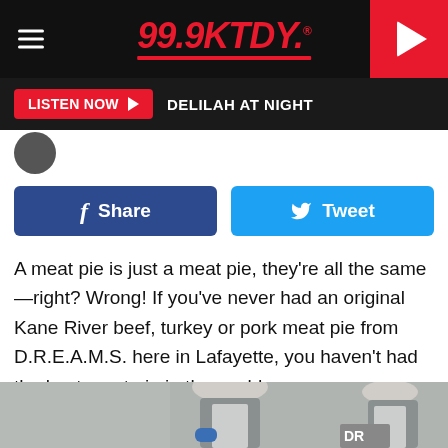99.9KTDY.
LISTEN NOW ▶  DELILAH AT NIGHT
f Share   Tweet
A meat pie is just a meat pie, they're all the same—right? Wrong! If you've never had an original Kane River beef, turkey or pork meat pie from D.R.E.A.M.S. here in Lafayette, you haven't had the best meat pie in the world.
[Figure (photo): Two workers in a commercial kitchen wearing hair nets and aprons. One man in the foreground with blue gloves is working with food on a surface; a woman in the background is also working. Partial 'DRE' text visible on equipment.]